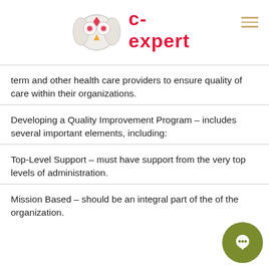c-expert
term and other health care providers to ensure quality of care within their organizations.
Developing a Quality Improvement Program – includes several important elements, including:
Top-Level Support – must have support from the very top levels of administration.
Mission Based – should be an integral part of the of the organization.